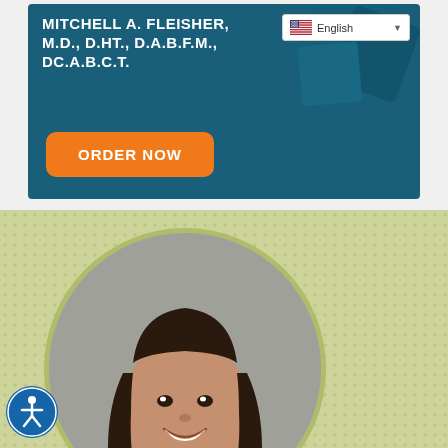MITCHELL A. FLEISHER, M.D., D.HT., D.A.B.F.M., DC.A.B.C.T.
[Figure (screenshot): English language selector dropdown UI element with US flag icon]
[Figure (other): Orange ORDER NOW button on dark teal banner background]
[Figure (photo): Circular portrait photo of a smiling young woman with long dark hair on a yellow-green dotted background]
[Figure (other): Blue circular accessibility icon with human figure in wheelchair/accessibility pose]